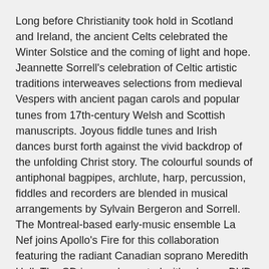Long before Christianity took hold in Scotland and Ireland, the ancient Celts celebrated the Winter Solstice and the coming of light and hope. Jeannette Sorrell's celebration of Celtic artistic traditions interweaves selections from medieval Vespers with ancient pagan carols and popular tunes from 17th-century Welsh and Scottish manuscripts. Joyous fiddle tunes and Irish dances burst forth against the vivid backdrop of the unfolding Christ story. The colourful sounds of antiphonal bagpipes, archlute, harp, percussion, fiddles and recorders are blended in musical arrangements by Sylvain Bergeron and Sorrell. The Montreal-based early-music ensemble La Nef joins Apollo's Fire for this collaboration featuring the radiant Canadian soprano Meredith Hall. The CD is complemented with a bonus DVD featuring several songs from the album.
"This type of fusion is increasingly popular, and Apollo's Fire do it enthusiastically, if perhaps without the final degree of finessed musicality that other ensembles bring to this type of project" (BBC Music)
"Dennis and Radley could have brought more savour to the acerbically witty Italian text...But their singing is mellifluous,